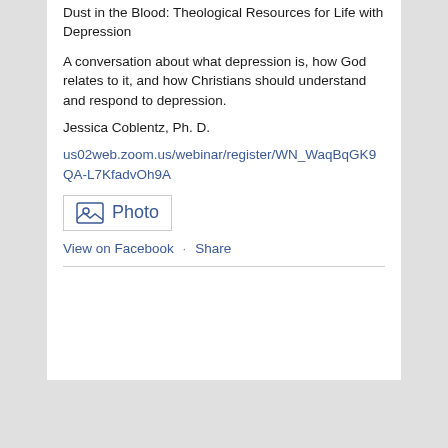Dust in the Blood: Theological Resources for Life with Depression
A conversation about what depression is, how God relates to it, and how Christians should understand and respond to depression.
Jessica Coblentz, Ph. D.
us02web.zoom.us/webinar/register/WN_WaqBqGK9QA-L7KfadvOh9A
[Figure (other): Photo placeholder icon with image symbol and 'Photo' label in blue text]
View on Facebook · Share